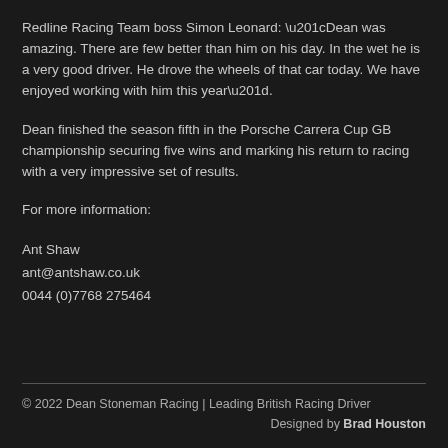Redline Racing Team boss Simon Leonard: “Dean was amazing. There are few better than him on his day. In the wet he is a very good driver. He drove the wheels of that car today. We have enjoyed working with him this year”.
Dean finished the season fifth in the Porsche Carrera Cup GB championship securing five wins and marking his return to racing with a very impressive set of results.
For more information:
Ant Shaw
ant@antshaw.co.uk
0044 (0)7768 275464
© 2022 Dean Stoneman Racing | Leading British Racing Driver
Designed by Brad Houston